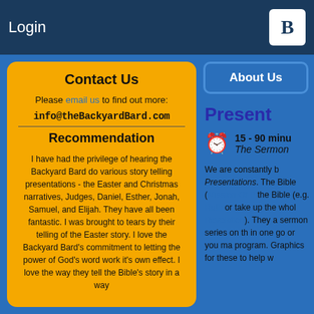Login
Contact Us
Please email us to find out more:
info@theBackyardBard.com
Recommendation
I have had the privilege of hearing the Backyard Bard do various story telling presentations - the Easter and Christmas narratives, Judges, Daniel, Esther, Jonah, Samuel, and Elijah. They have all been fantastic. I was brought to tears by their telling of the Easter story. I love the Backyard Bard's commitment to letting the power of God's word work it's own effect. I love the way they tell the Bible's story in a way
About Us
Present
15 - 90 minu
The Sermon
We are constantly b Presentations. The Bible (Mission Of P the Bible (e.g. Ruth or take up the whol Revelation). They a sermon series on th in one go or you ma program. Graphics for these to help w